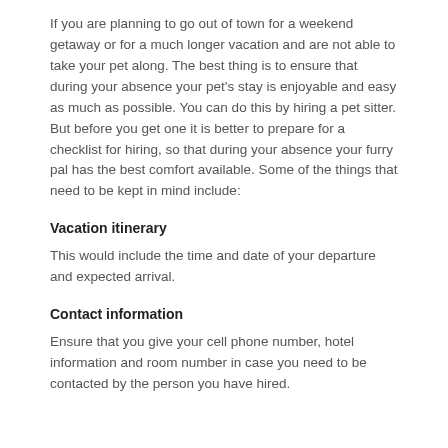If you are planning to go out of town for a weekend getaway or for a much longer vacation and are not able to take your pet along. The best thing is to ensure that during your absence your pet's stay is enjoyable and easy as much as possible. You can do this by hiring a pet sitter. But before you get one it is better to prepare for a checklist for hiring, so that during your absence your furry pal has the best comfort available. Some of the things that need to be kept in mind include:
Vacation itinerary
This would include the time and date of your departure and expected arrival.
Contact information
Ensure that you give your cell phone number, hotel information and room number in case you need to be contacted by the person you have hired.